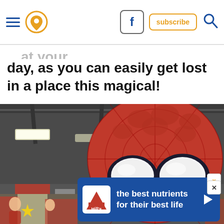Navigation header with hamburger menu, location icon, Facebook button, subscribe button, and search icon
day, as you can easily get lost in a place this magical!
[Figure (photo): Large inflatable Spider-Man head/balloon in a convention hall with industrial ceiling and lighting]
[Figure (photo): Cosplayers dressed as Marvel characters (Captain Marvel) at a comic convention, partially visible at bottom]
[Figure (advertisement): Hill's pet nutrition advertisement banner with blue background reading 'the best nutrients for their best life']